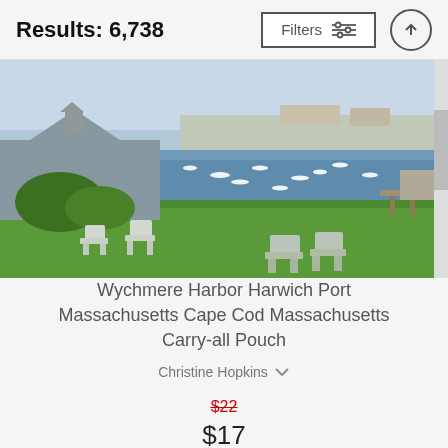Results: 6,738
[Figure (photo): Painting of Wychmere Harbor, Harwich Port, Massachusetts Cape Cod — showing Adirondack chairs on a green lawn overlooking a harbor with sailboats and buildings in the background.]
Wychmere Harbor Harwich Port Massachusetts Cape Cod Massachusetts Carry-all Pouch
Christine Hopkins
$22 $17